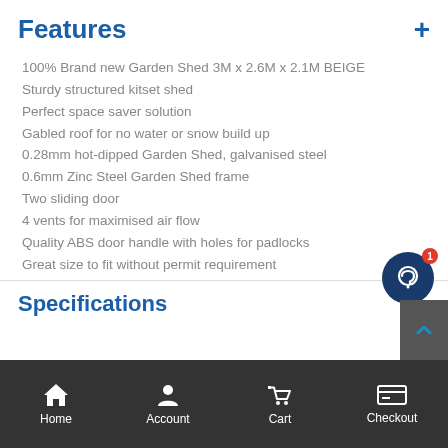Features
100% Brand new Garden Shed 3M x 2.6M x 2.1M BEIGE
Sturdy structured kitset shed
Perfect space saver solution
Gabled roof for no water or snow build up
0.28mm hot-dipped Garden Shed, galvanised steel
0.6mm Zinc Steel Garden Shed frame
Two sliding door
4 vents for maximised air flow
Quality ABS door handle with holes for padlocks
Great size to fit without permit requirement
Specifications
Home  Account  Cart  Checkout